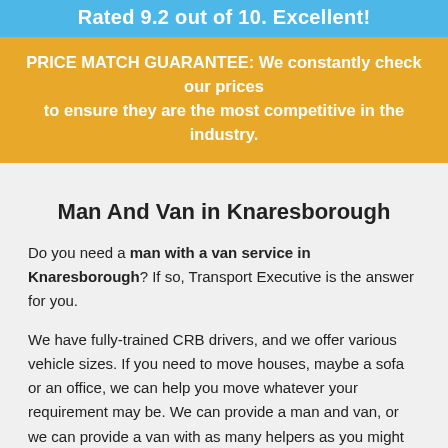Rated 9.2 out of 10. Excellent!
PRICE MATCH GUARANTEE: We constantly check our prices to ensure they are the most competitive in the industry.
Man And Van in Knaresborough
Do you need a man with a van service in Knaresborough? If so, Transport Executive is the answer for you.
We have fully-trained CRB drivers, and we offer various vehicle sizes. If you need to move houses, maybe a sofa or an office, we can help you move whatever your requirement may be. We can provide a man and van, or we can provide a van with as many helpers as you might need. Our man and a van in Knaresborough also covers the rest of the UK, so whatever your requirement may be, we can